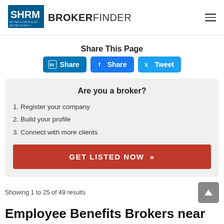SHRM BROKERFINDER
Share This Page
[Figure (other): Social share buttons: LinkedIn Share, Facebook Share, Twitter Tweet]
Are you a broker?
1. Register your company
2. Build your profile
3. Connect with more clients
GET LISTED NOW »
Showing 1 to 25 of 49 results
Employee Benefits Brokers near